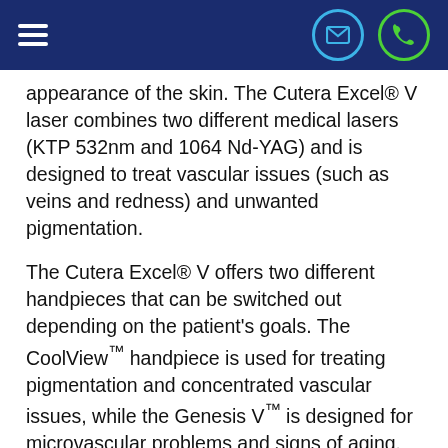Navigation bar with hamburger menu, email icon, and phone icon
appearance of the skin. The Cutera Excel® V laser combines two different medical lasers (KTP 532nm and 1064 Nd-YAG) and is designed to treat vascular issues (such as veins and redness) and unwanted pigmentation.
The Cutera Excel® V offers two different handpieces that can be switched out depending on the patient's goals. The CoolView™ handpiece is used for treating pigmentation and concentrated vascular issues, while the Genesis V™ is designed for microvascular problems and signs of aging. This handpiece can also stimulate collagen production for a more youthful appearance.